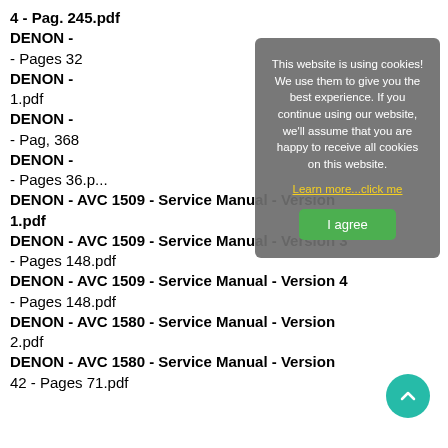4 - Pag. 245.pdf
DENON -
- Pages 32
DENON -
1.pdf
DENON -
- Pag, 368
DENON -
- Pages 36.p...
DENON - AVC 1509 - Service Manual - Version 1.pdf
DENON - AVC 1509 - Service Manual - Version 3 - Pages 148.pdf
DENON - AVC 1509 - Service Manual - Version 4 - Pages 148.pdf
DENON - AVC 1580 - Service Manual - Version 2.pdf
DENON - AVC 1580 - Service Manual - Version 42 - Pages 71.pdf
[Figure (screenshot): Cookie consent overlay with text: This website is using cookies! We use them to give you the best experience. If you continue using our website, we'll assume that you are happy to receive all cookies on this website. Learn more...click me. I agree button.]